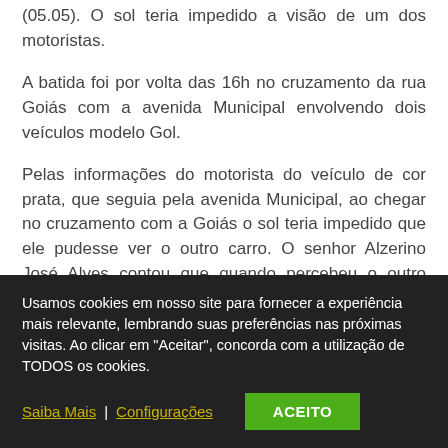(05.05). O sol teria impedido a visão de um dos motoristas.
A batida foi por volta das 16h no cruzamento da rua Goiás com a avenida Municipal envolvendo dois veículos modelo Gol.
Pelas informações do motorista do veículo de cor prata, que seguia pela avenida Municipal, ao chegar no cruzamento com a Goiás o sol teria impedido que ele pudesse ver o outro carro. O senhor Alzerino José Alves contou que quando percebeu o outro veículo não
Usamos cookies em nosso site para fornecer a experiência mais relevante, lembrando suas preferências nas próximas visitas. Ao clicar em "Aceitar", concorda com a utilização de TODOS os cookies.
Saiba Mais | Configurações   ACEITO